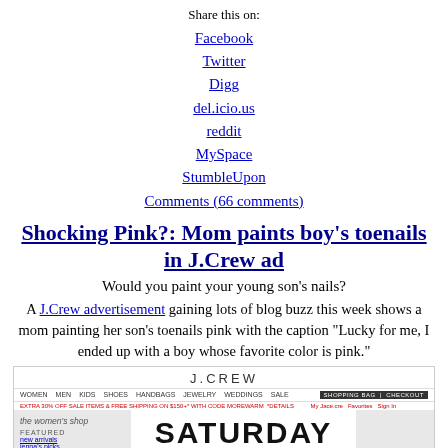Share this on:
Facebook
Twitter
Digg
del.icio.us
reddit
MySpace
StumbleUpon
Comments (66 comments)
Shocking Pink?: Mom paints boy's toenails in J.Crew ad
Would you paint your young son's nails?
A J.Crew advertisement gaining lots of blog buzz this week shows a mom painting her son's toenails pink with the caption “Lucky for me, I ended up with a boy whose favorite color is pink.”
[Figure (screenshot): Screenshot of J.Crew website showing the Saturday with Jenna feature, with navigation bar, promotional text, sidebar with the women's shop, and main content area showing 'SATURDAY with jenna' text.]